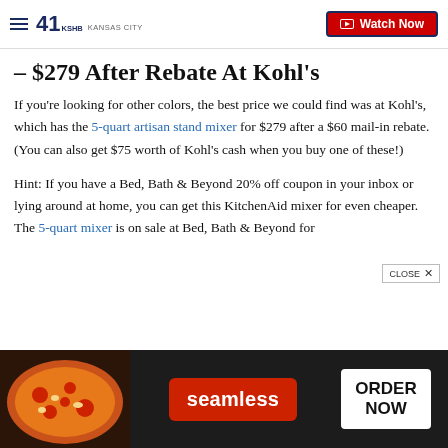41 KSHB KANSAS CITY | Watch Now
– $279 After Rebate At Kohl's
If you're looking for other colors, the best price we could find was at Kohl's, which has the 5-quart artisan stand mixer for $279 after a $60 mail-in rebate. (You can also get $75 worth of Kohl's cash when you buy one of these!)
Hint: If you have a Bed, Bath & Beyond 20% off coupon in your inbox or lying around at home, you can get this KitchenAid mixer for even cheaper. The 5-quart mixer is on sale at Bed, Bath & Beyond for
[Figure (photo): Seamless food delivery advertisement banner with pizza image on left, Seamless red logo in center, and ORDER NOW button on right]